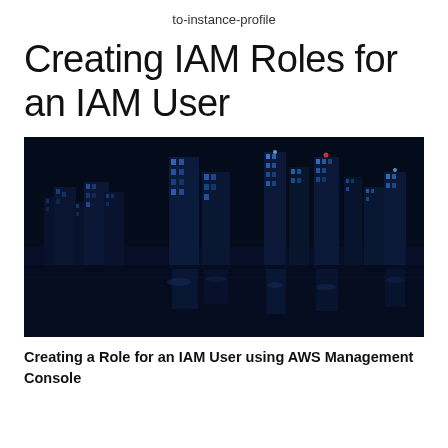to-instance-profile
Creating IAM Roles for an IAM User
[Figure (photo): Night cityscape of a modern city with illuminated skyscrapers reflected on water, predominantly dark blue tones.]
Creating a Role for an IAM User using AWS Management Console